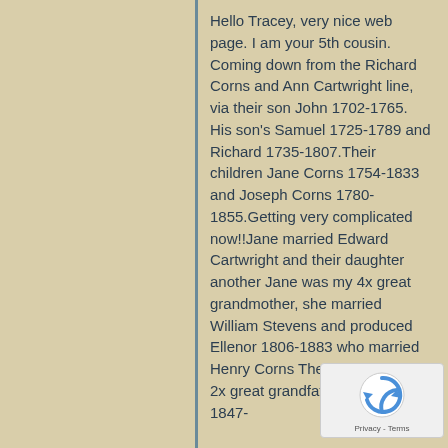Hello Tracey, very nice web page. I am your 5th cousin. Coming down from the Richard Corns and Ann Cartwright line, via their son John 1702-1765. His son's Samuel 1725-1789 and Richard 1735-1807.Their children Jane Corns 1754-1833 and Joseph Corns 1780-1855.Getting very complicated now!!Jane married Edward Cartwright and their daughter another Jane was my 4x great grandmother, she married William Stevens and produced Ellenor 1806-1883 who married Henry Corns They produced my 2x great grandfather Joseph 1847-
[Figure (other): reCAPTCHA badge with blue circular arrow icon and 'Privacy - Terms' text]